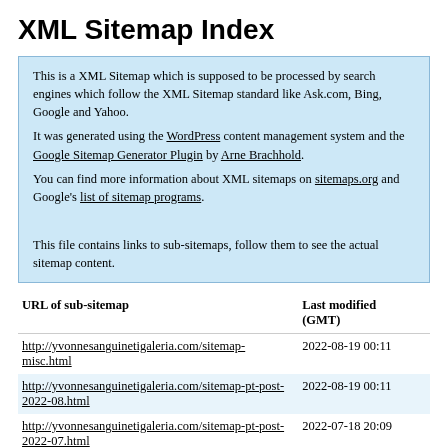XML Sitemap Index
This is a XML Sitemap which is supposed to be processed by search engines which follow the XML Sitemap standard like Ask.com, Bing, Google and Yahoo.
It was generated using the WordPress content management system and the Google Sitemap Generator Plugin by Arne Brachhold.
You can find more information about XML sitemaps on sitemaps.org and Google's list of sitemap programs.

This file contains links to sub-sitemaps, follow them to see the actual sitemap content.
| URL of sub-sitemap | Last modified (GMT) |
| --- | --- |
| http://yvonnesanguinetigaleria.com/sitemap-misc.html | 2022-08-19 00:11 |
| http://yvonnesanguinetigaleria.com/sitemap-pt-post-2022-08.html | 2022-08-19 00:11 |
| http://yvonnesanguinetigaleria.com/sitemap-pt-post-2022-07.html | 2022-07-18 20:09 |
| http://yvonnesanguinetigaleria.com/sitemap-pt-post-2022-04.html | 2022-04-22 20:54 |